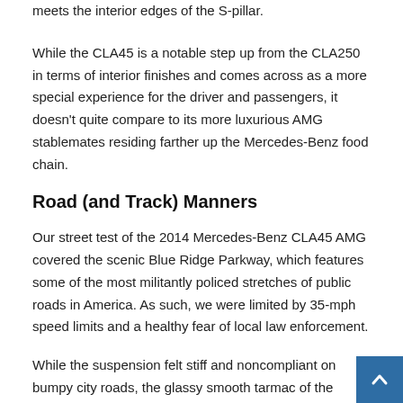meets the interior edges of the S-pillar.
While the CLA45 is a notable step up from the CLA250 in terms of interior finishes and comes across as a more special experience for the driver and passengers, it doesn't quite compare to its more luxurious AMG stablemates residing farther up the Mercedes-Benz food chain.
Road (and Track) Manners
Our street test of the 2014 Mercedes-Benz CLA45 AMG covered the scenic Blue Ridge Parkway, which features some of the most militantly policed stretches of public roads in America. As such, we were limited by 35-mph speed limits and a healthy fear of local law enforcement.
While the suspension felt stiff and noncompliant on bumpy city roads, the glassy smooth tarmac of the Parkway revealed